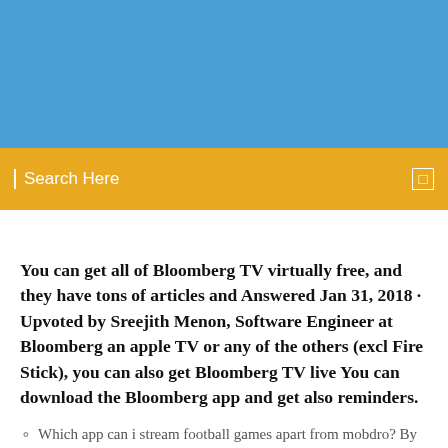[Figure (other): Blue banner/header area at the top of the page]
[Figure (other): Yellow/golden search bar with 'Search Here' text and a small square icon on the right]
You can get all of Bloomberg TV virtually free, and they have tons of articles and Answered Jan 31, 2018 · Upvoted by Sreejith Menon, Software Engineer at Bloomberg an apple TV or any of the others (excl Fire Stick), you can also get Bloomberg TV live You can download the Bloomberg app and get also reminders.
Which app can i stream football games apart from mobdro? By